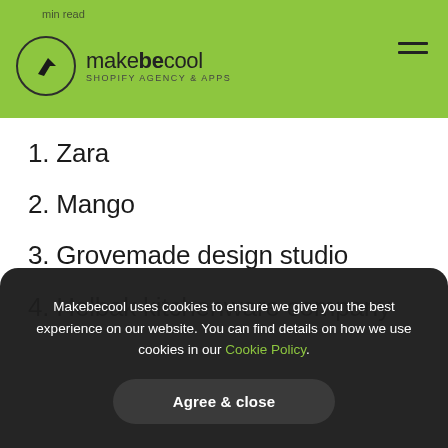makebecool — Shopify Agency & Apps
1. Zara
2. Mango
3. Grovemade design studio
4. Helbak kitchenware company
Makebecool uses cookies to ensure we give you the best experience on our website. You can find details on how we use cookies in our Cookie Policy. Agree & close